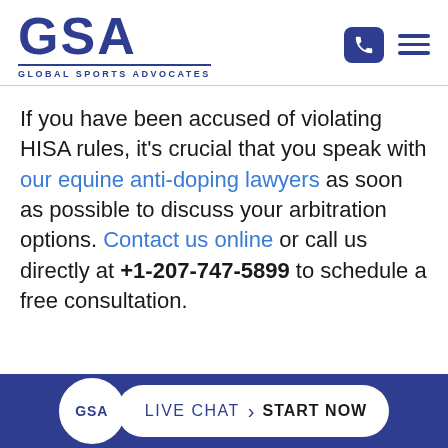GSA — GLOBAL SPORTS ADVOCATES
If you have been accused of violating HISA rules, it's crucial that you speak with our equine anti-doping lawyers as soon as possible to discuss your arbitration options. Contact us online or call us directly at +1-207-747-5899 to schedule a free consultation.
GSA LIVE CHAT › START NOW